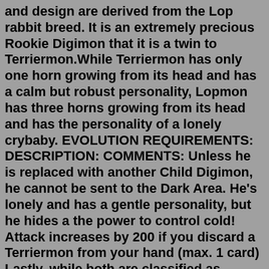and design are derived from the Lop rabbit breed. It is an extremely precious Rookie Digimon that it is a twin to Terriermon.While Terriermon has only one horn growing from its head and has a calm but robust personality, Lopmon has three horns growing from its head and has the personality of a lonely crybaby. EVOLUTION REQUIREMENTS: DESCRIPTION: COMMENTS: Unless he is replaced with another Child Digimon, he cannot be sent to the Dark Area. He's lonely and has a gentle personality, but he hides a the power to control cold! Attack increases by 200 if you discard a Terriermon from your hand (max. 1 card) Lastly, while both are classified as Combat Species, Lopmon has a more reserved personality and is prone to being a bit of a whiner or crybaby, while Terriermon is more of an outgoing and 'robust' personality. This leads to an interesting tag team dynamic with the two: while Terriermon is on the front lines, Lopmon offers support from the back. If you loved Tamers Reborn: Get the Vital Hero Now! A